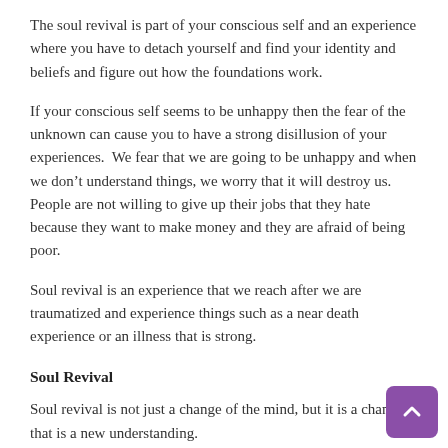The soul revival is part of your conscious self and an experience where you have to detach yourself and find your identity and beliefs and figure out how the foundations work.
If your conscious self seems to be unhappy then the fear of the unknown can cause you to have a strong disillusion of your experiences.  We fear that we are going to be unhappy and when we don’t understand things, we worry that it will destroy us.  People are not willing to give up their jobs that they hate because they want to make money and they are afraid of being poor.
Soul revival is an experience that we reach after we are traumatized and experience things such as a near death experience or an illness that is strong.
Soul Revival
Soul revival is not just a change of the mind, but it is a change that is a new understanding.
Soul revival is a depth of understanding of the universe and the spirit